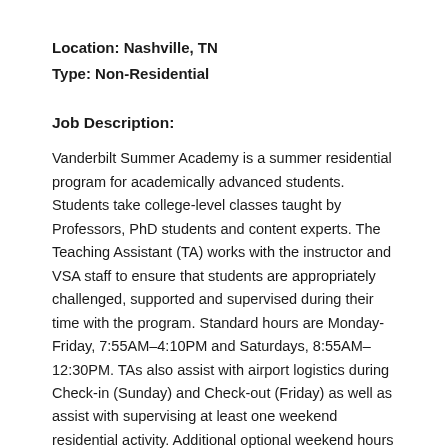Location: Nashville, TN
Type: Non-Residential
Job Description:
Vanderbilt Summer Academy is a summer residential program for academically advanced students. Students take college-level classes taught by Professors, PhD students and content experts. The Teaching Assistant (TA) works with the instructor and VSA staff to ensure that students are appropriately challenged, supported and supervised during their time with the program. Standard hours are Monday-Friday, 7:55AM–4:10PM and Saturdays, 8:55AM–12:30PM. TAs also assist with airport logistics during Check-in (Sunday) and Check-out (Friday) as well as assist with supervising at least one weekend residential activity. Additional optional weekend hours